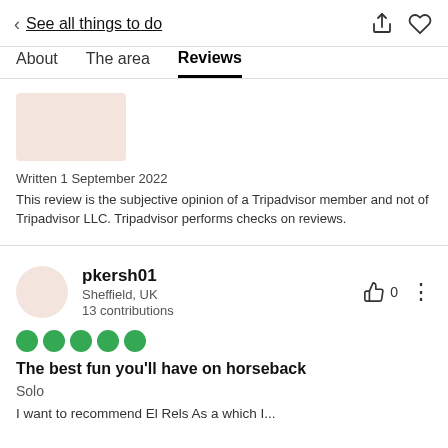< See all things to do
About | The area | Reviews (active)
[Figure (photo): Placeholder image (peach/beige rectangle) for a review photo]
Written 1 September 2022
This review is the subjective opinion of a Tripadvisor member and not of Tripadvisor LLC. Tripadvisor performs checks on reviews.
pkersh01
Sheffield, UK
13 contributions
[Figure (infographic): 5 green filled circles representing a 5-bubble/star rating]
The best fun you'll have on horseback
Solo
I want to recommend ElRels As a which I...